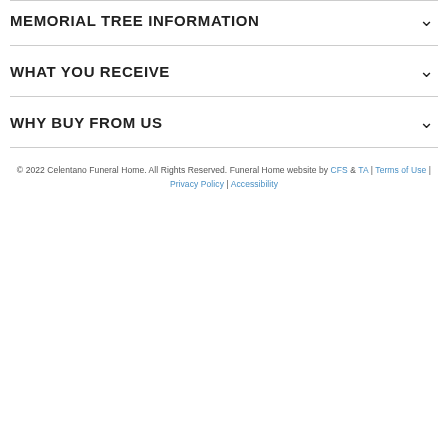MEMORIAL TREE INFORMATION
WHAT YOU RECEIVE
WHY BUY FROM US
© 2022 Celentano Funeral Home. All Rights Reserved. Funeral Home website by CFS & TA | Terms of Use | Privacy Policy | Accessibility